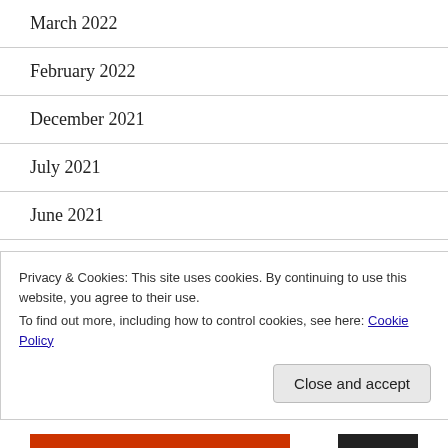March 2022
February 2022
December 2021
July 2021
June 2021
May 2021
April 2021
Privacy & Cookies: This site uses cookies. By continuing to use this website, you agree to their use.
To find out more, including how to control cookies, see here: Cookie Policy